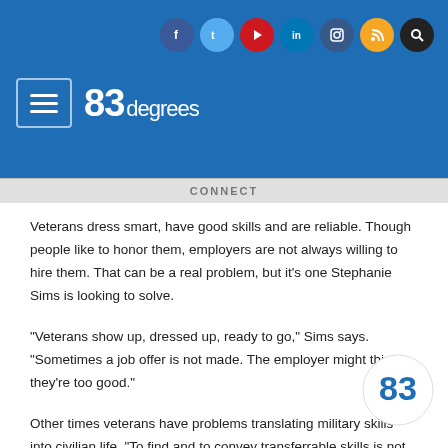83degrees — website header with social icons (Facebook, Twitter, YouTube, LinkedIn, Instagram, RSS, Search) and 83degrees logo with hamburger menu
Veterans dress smart, have good skills and are reliable. Though people like to honor them, employers are not always willing to hire them. That can be a real problem, but it's one Stephanie Sims is looking to solve.
“Veterans show up, dressed up, ready to go,” Sims says. “Sometimes a job offer is not made. The employer might think they’re too good.”
Other times veterans have problems translating military skills into civilian life. “To find and to convey transferrable skills is not always easy,”
So Sims, who has witnessed the problems at national job fairs, is holding